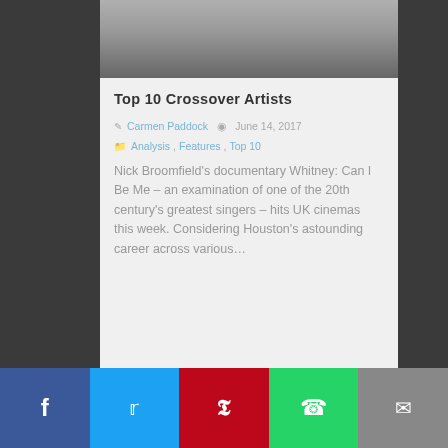[Figure (photo): Grayscale photo of a person, cropped at top]
Top 10 Crossover Artists
Carmen Paddock  June 14, 2017
Analysis, Features, Top 10
Nick Broomfield's documentary Whitney: Can I Be Me – an examination of one of the 20th century's greatest singers – hits UK cinemas this week. Considering Houston's astounding career across various...
[Figure (photo): Stylized yellow and purple duotone photo of a person pointing]
[Figure (infographic): Social sharing bar with Facebook, Twitter, Pinterest, WhatsApp, and Email buttons]